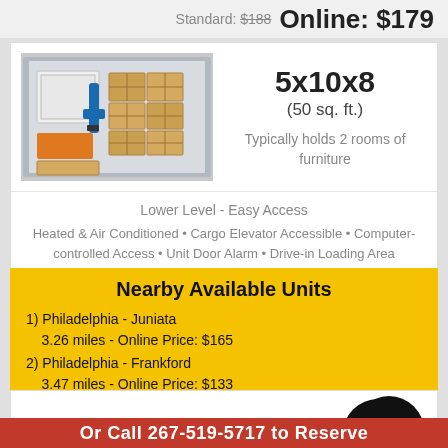Standard: $188  Online: $179
5x10x8
(50 sq. ft.)
Typically holds 2 rooms of furniture
Lower Level - Easy Access
Heated & Air Conditioned • Cargo Elevator Accessible • Computer-controlled Access • Unit Door Alarm • Drive-in Loading Area
Nearby Available Units
1) Philadelphia - Juniata
3.26 miles - Online Price: $165
2) Philadelphia - Frankford
3.47 miles - Online Price: $133
Or Call 267-519-5717 to Reserve